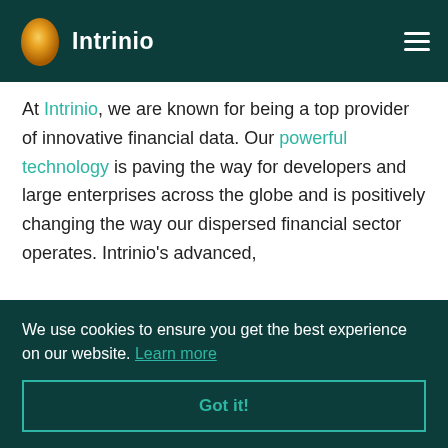Intrinio
At Intrinio, we are known for being a top provider of innovative financial data. Our powerful technology is paving the way for developers and large enterprises across the globe and is positively changing the way our dispersed financial sector operates. Intrinio’s advanced,
s that
We use cookies to ensure you get the best experience on our website. Learn more
Got it!
st
esses,
ge
work in our blog. Intrinio’s Customer Success Spotlight